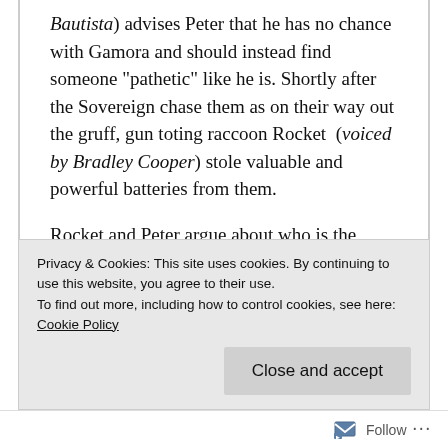Bautista) advises Peter that he has no chance with Gamora and should instead find someone "pathetic" like he is. Shortly after the Sovereign chase them as on their way out the gruff, gun toting raccoon Rocket (voiced by Bradley Cooper) stole valuable and powerful batteries from them.
Rocket and Peter argue about who is the better pilot and their struggle for control damages the ship. Luckily, the remote controlled pursuers are destroyed by a mysterious figure who arrives astride his own ship. The Guardians escape but
Privacy & Cookies: This site uses cookies. By continuing to use this website, you agree to their use.
To find out more, including how to control cookies, see here: Cookie Policy
Close and accept
Follow ···